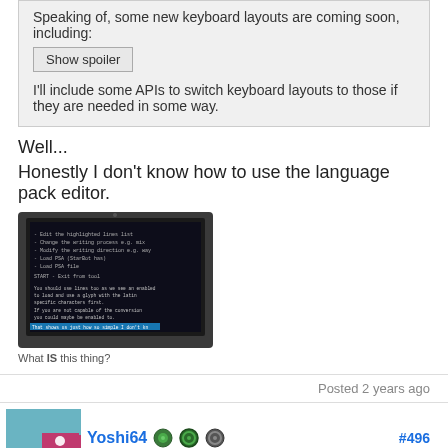Speaking of, some new keyboard layouts are coming soon, including:
Show spoiler
I'll include some APIs to switch keyboard layouts to those if they are needed in some way.
Well...
Honestly I don't know how to use the language pack editor.
[Figure (screenshot): Screenshot of a handheld gaming device (Nintendo 3DS) showing a dark terminal/text screen with white and cyan text, appearing to be a language pack editor or menu system.]
What IS this thing?
Posted 2 years ago
Yoshi64  #496